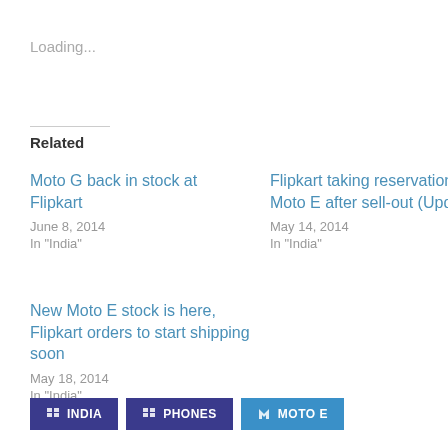Loading...
Related
Moto G back in stock at Flipkart
June 8, 2014
In "India"
Flipkart taking reservations for Moto E after sell-out (Update)
May 14, 2014
In "India"
New Moto E stock is here, Flipkart orders to start shipping soon
May 18, 2014
In "India"
INDIA
PHONES
MOTO E